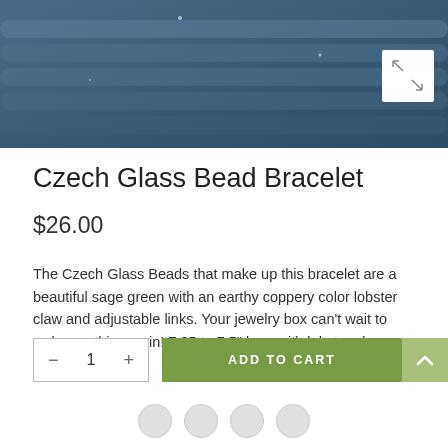[Figure (photo): Close-up photo of a Czech Glass Bead Bracelet with blue/sage green beads on a dark background, with an expand/fullscreen icon button in the top-right corner]
Czech Glass Bead Bracelet
$26.00
The Czech Glass Beads that make up this bracelet are a beautiful sage green with an earthy coppery color lobster claw and adjustable links. Your jewelry box can't wait to welcome this one in! 7.25 to 7.5" long with lobster claw closure.